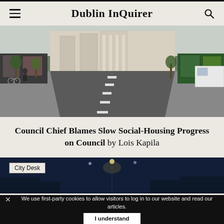Dublin InQuirer
[Figure (photo): Street view of a Dublin city road, with shopfronts on both sides, trees, bicycles, and a large stone building at the end, empty road with dashed white centre line, daytime.]
Council Chief Blames Slow Social-Housing Progress on Council by Lois Kapila
[Figure (photo): Night cityscape with street lights glowing blue, with a City Desk label badge in upper-left corner.]
We use first-party cookies to allow visitors to log in to our website and read our articles.
I understand